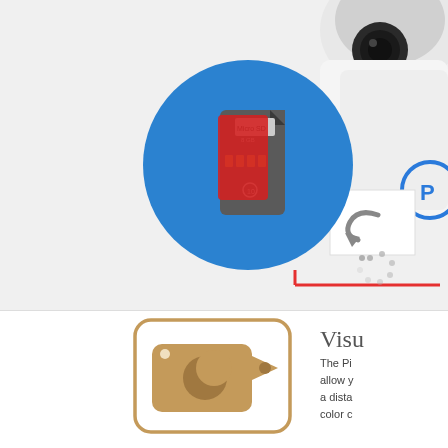[Figure (illustration): Top section showing a microSD card on a blue circle with a red pointer line, a security camera body in the top right, a return/undo icon box, and a brand logo partially visible. A dotted spinner circle is visible at bottom center of the top section.]
[Figure (illustration): Night vision camera icon: a rounded square outline in brown/tan color containing a camera icon with a moon/crescent symbol, indicating night vision capability.]
Visu
The Pi allow y a dista color c